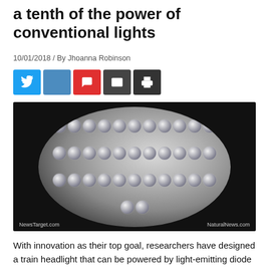a tenth of the power of conventional lights
10/01/2018 / By Jhoanna Robinson
[Figure (photo): Close-up photograph of an LED array showing multiple spherical lens elements arranged in a circular cluster against a dark background. Watermarks: NewsTarget.com (bottom left) and NaturalNews.com (bottom right).]
With innovation as their top goal, researchers have designed a train headlight that can be powered by light-emitting diode (LED), something that makes use of